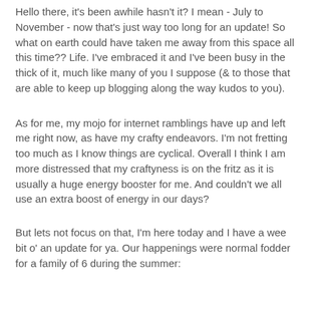Hello there, it's been awhile hasn't it? I mean - July to November - now that's just way too long for an update! So what on earth could have taken me away from this space all this time?? Life. I've embraced it and I've been busy in the thick of it, much like many of you I suppose (& to those that are able to keep up blogging along the way kudos to you).
As for me, my mojo for internet ramblings have up and left me right now, as have my crafty endeavors. I'm not fretting too much as I know things are cyclical. Overall I think I am more distressed that my craftyness is on the fritz as it is usually a huge energy booster for me. And couldn't we all use an extra boost of energy in our days?
But lets not focus on that, I'm here today and I have a wee bit o' an update for ya. Our happenings were normal fodder for a family of 6 during the summer: